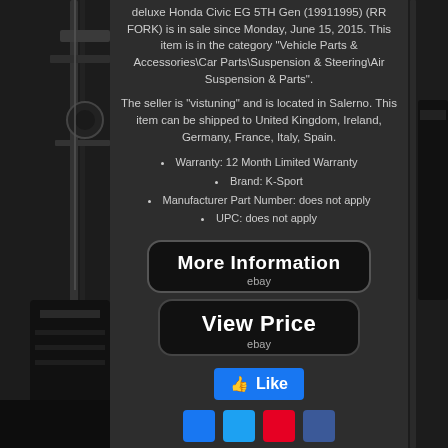deluxe Honda Civic EG 5TH Gen (19911995) (RR FORK) is in sale since Monday, June 15, 2015. This item is in the category "Vehicle Parts & Accessories\Car Parts\Suspension & Steering\Air Suspension & Parts".
The seller is "vistuning" and is located in Salerno. This item can be shipped to United Kingdom, Ireland, Germany, France, Italy, Spain.
Warranty: 12 Month Limited Warranty
Brand: K-Sport
Manufacturer Part Number: does not apply
UPC: does not apply
[Figure (other): More Information button with ebay label, dark rounded rectangle]
[Figure (other): View Price button with ebay label, dark rounded rectangle]
[Figure (other): Facebook Like button, blue]
[Figure (other): Social share icons: Facebook, Twitter, Pinterest, another]